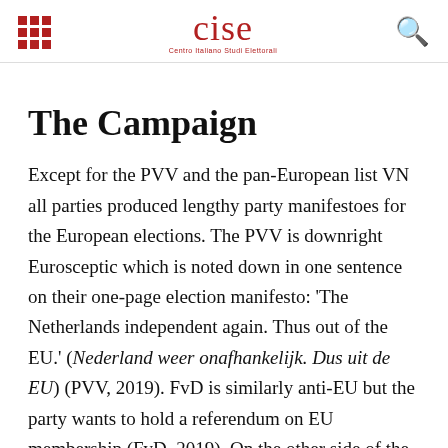CISE — Centro Italiano Studi Elettorali
The Campaign
Except for the PVV and the pan-European list VN all parties produced lengthy party manifestoes for the European elections. The PVV is downright Eurosceptic which is noted down in one sentence on their one-page election manifesto: 'The Netherlands independent again. Thus out of the EU.' (Nederland weer onafhankelijk. Dus uit de EU) (PVV, 2019). FvD is similarly anti-EU but the party wants to hold a referendum on EU membership (FvD, 2019). On the other side of the spectrum stands D66 which campaigned with the slogan 'In Europe we make our